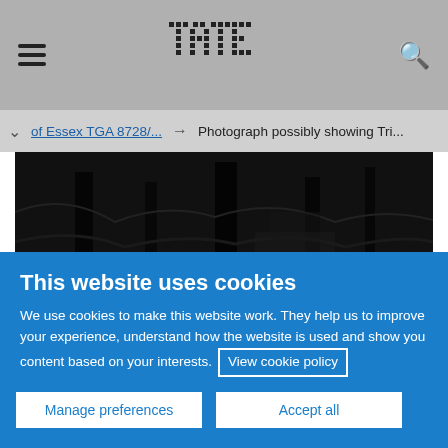Tate website header with hamburger menu, Tate logo, and search icon
of Essex TGA 8728/... → Photograph possibly showing Tri...
[Figure (photo): Black and white photograph showing a dark outdoor scene with trees and tall grass or vegetation]
This website uses cookies
We use cookies to make this website work. They help us to improve your experience, understand how the website is used and show you content based on your interests. View cookie policy
Manage preferences
Accept all